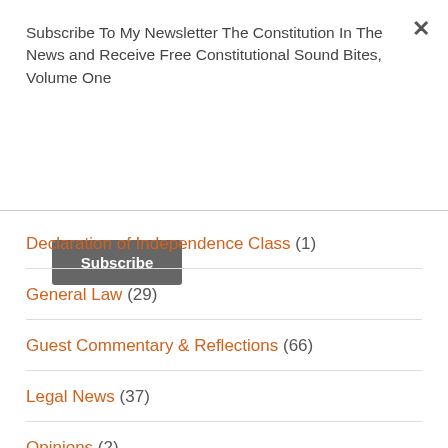Subscribe To My Newsletter The Constitution In The News and Receive Free Constitutional Sound Bites, Volume One
Subscribe
Declaration of Independence Class (1)
General Law (29)
Guest Commentary & Reflections (66)
Legal News (37)
Opinions (2)
Uncategorized (7)